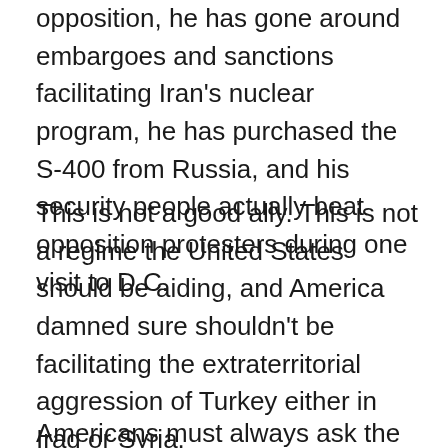opposition, he has gone around embargoes and sanctions facilitating Iran's nuclear program, he has purchased the S-400 from Russia, and his security people actually beat opposition protesters during one visit to D.C.
This is not a good ally. This is not a regime the United States should be aiding, and America damned sure shouldn't be facilitating the extraterritorial aggression of Turkey either in Iraq or Syria.
Americans must always ask the important